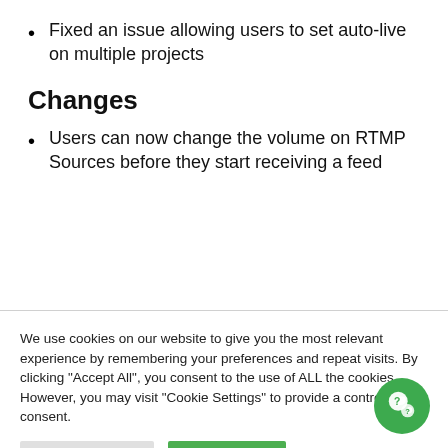Fixed an issue allowing users to set auto-live on multiple projects
Changes
Users can now change the volume on RTMP Sources before they start receiving a feed
We use cookies on our website to give you the most relevant experience by remembering your preferences and repeat visits. By clicking “Accept All”, you consent to the use of ALL the cookies. However, you may visit "Cookie Settings" to provide a controlled consent.